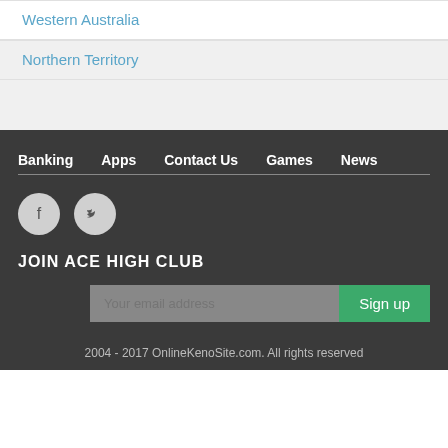Western Australia
Northern Territory
Banking  Apps  Contact Us  Games  News
JOIN ACE HIGH CLUB
2004 - 2017 OnlineKenoSite.com. All rights reserved